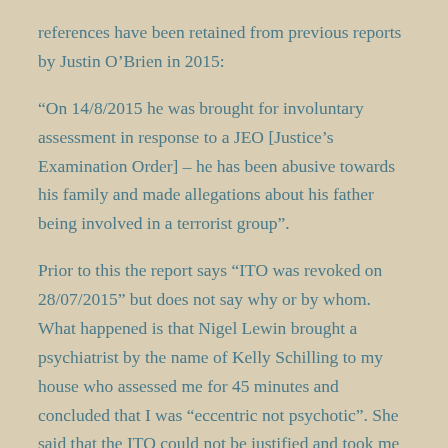references have been retained from previous reports by Justin O'Brien in 2015:
“On 14/8/2015 he was brought for involuntary assessment in response to a JEO [Justice’s Examination Order] – he has been abusive towards his family and made allegations about his father being involved in a terrorist group”.
Prior to this the report says “ITO was revoked on 28/07/2015” but does not say why or by whom. What happened is that Nigel Lewin brought a psychiatrist by the name of Kelly Schilling to my house who assessed me for 45 minutes and concluded that I was “eccentric not psychotic”. She said that the ITO could not be justified and took me off it.